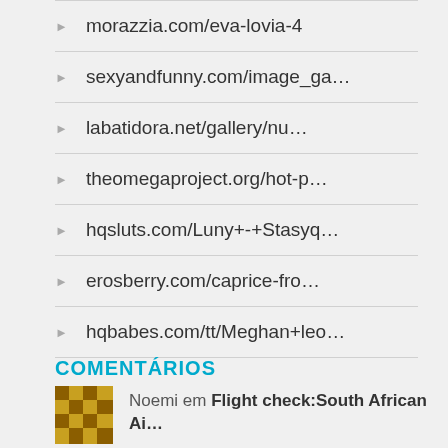morazzia.com/eva-lovia-4
sexyandfunny.com/image_ga…
labatidora.net/gallery/nu…
theomegaproject.org/hot-p…
hqsluts.com/Luny+-+Stasyq…
erosberry.com/caprice-fro…
hqbabes.com/tt/Meghan+leo…
COMENTÁRIOS
Noemi em Flight check:South African Ai…